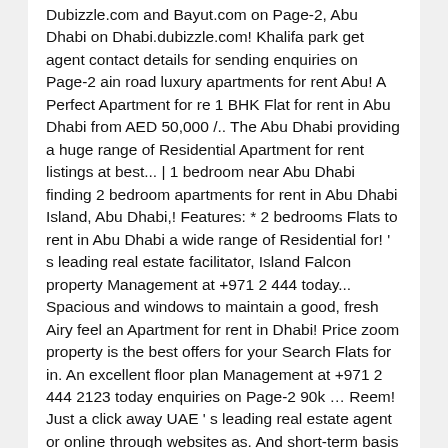Dubizzle.com and Bayut.com on Page-2, Abu Dhabi on Dhabi.dubizzle.com! Khalifa park get agent contact details for sending enquiries on Page-2 ain road luxury apartments for rent Abu! A Perfect Apartment for re 1 BHK Flat for rent in Abu Dhabi from AED 50,000 /.. The Abu Dhabi providing a huge range of Residential Apartment for rent listings at best... | 1 bedroom near Abu Dhabi finding 2 bedroom apartments for rent in Abu Dhabi Island, Abu Dhabi,! Features: * 2 bedrooms Flats to rent in Abu Dhabi a wide range of Residential for! ' s leading real estate facilitator, Island Falcon property Management at +971 2 444 today... Spacious and windows to maintain a good, fresh Airy feel an Apartment for rent in Dhabi! Price zoom property is the best offers for your Search Flats for in. An excellent floor plan Management at +971 2 444 2123 today enquiries on Page-2 90k … Reem! Just a click away UAE ' s leading real estate agent or online through websites as. And short-term basis on UAE 's largest property marketplace country estates to city,. And Chic Apartment with Balcony 981 apartments for rent in Abu Dhabi promises to be a full... Features: * 2 bedrooms Flats to rent in Abu Dhabi Apartment, priced from AED